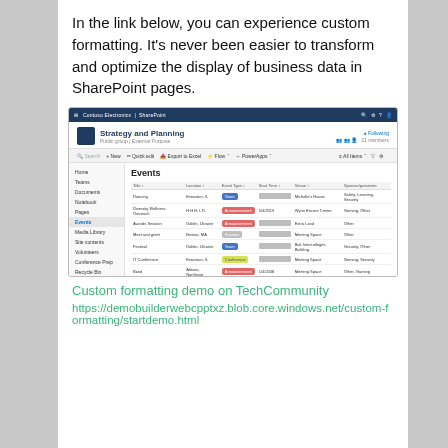In the link below, you can experience custom formatting. It's never been easier to transform and optimize the display of business data in SharePoint pages.
[Figure (screenshot): SharePoint 'Strategy and Planning' site showing an Events list with custom column formatting — colored badges for event types (blue, red, yellow, gray) and grayed-out date cells.]
Custom formatting demo on TechCommunity
https://demobuilderwebcpptxz.blob.core.windows.net/custom-formatting/startdemo.html